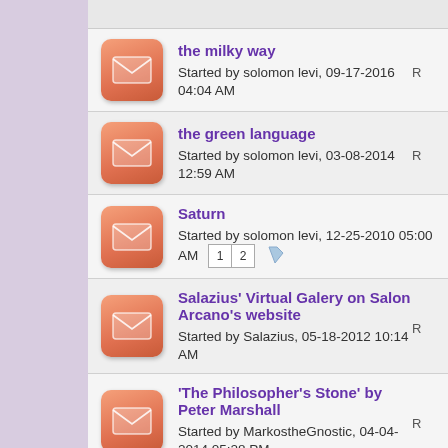the milky way
Started by solomon levi, 09-17-2016 04:04 AM
the green language
Started by solomon levi, 03-08-2014 12:59 AM
Saturn
Started by solomon levi, 12-25-2010 05:00 AM
Salazius' Virtual Galery on Salon Arcano's website
Started by Salazius, 05-18-2012 10:14 AM
'The Philosopher's Stone' by Peter Marshall
Started by MarkostheGnostic, 04-04-2014 05:28 PM
Poetry in Alchemy
Started by DonSweet, 04-03-2014 07:31 AM
fountain